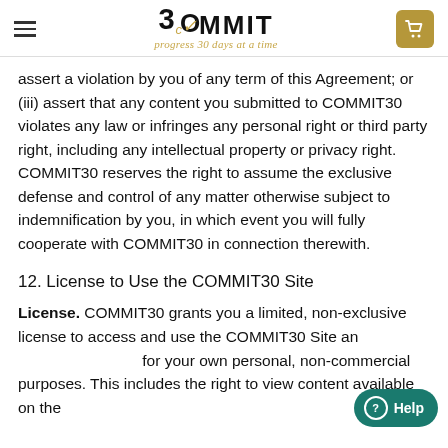3COMMIT progress 30 days at a time
assert a violation by you of any term of this Agreement; or (iii) assert that any content you submitted to COMMIT30 violates any law or infringes any personal right or third party right, including any intellectual property or privacy right. COMMIT30 reserves the right to assume the exclusive defense and control of any matter otherwise subject to indemnification by you, in which event you will fully cooperate with COMMIT30 in connection therewith.
12. License to Use the COMMIT30 Site
License. COMMIT30 grants you a limited, non-exclusive license to access and use the COMMIT30 Site and for your own personal, non-commercial purposes. This includes the right to view content available on the